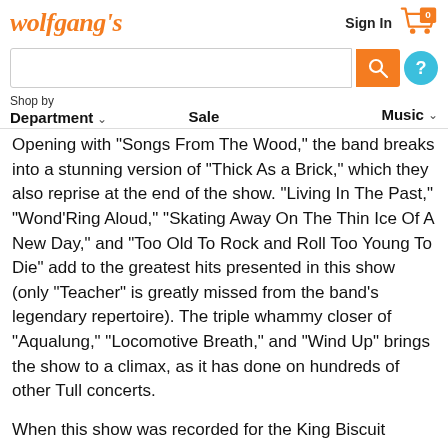[Figure (logo): Wolfgang's logo in orange italic serif font, with navigation elements: Sign In text, shopping cart icon with 0 badge, search bar with orange search button, blue help button, and navigation bar with Department, Sale, Music links]
Opening with "Songs From The Wood," the band breaks into a stunning version of "Thick As a Brick," which they also reprise at the end of the show. "Living In The Past," "Wond'Ring Aloud," "Skating Away On The Thin Ice Of A New Day," and "Too Old To Rock and Roll Too Young To Die" add to the greatest hits presented in this show (only "Teacher" is greatly missed from the band's legendary repertoire). The triple whammy closer of "Aqualung," "Locomotive Breath," and "Wind Up" brings the show to a climax, as it has done on hundreds of other Tull concerts.
When this show was recorded for the King Biscuit Flower Hour in 1987, only Ian Anderson remained from the original line up of bassist Glen Cornick, guitarist Mick Abrahams, and drummer Clive Bunker, a Jethro Tull blend...